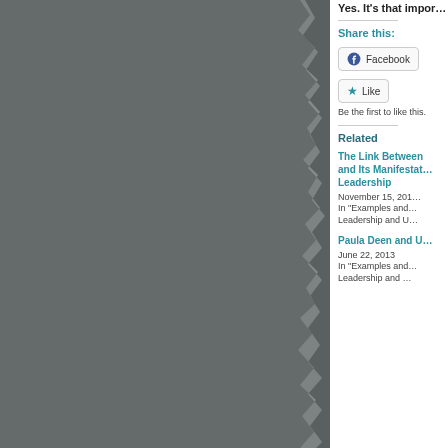[Figure (photo): Dark gray torn-edge panel on the left side of the page, showing a roughly textured torn paper edge on the right side of the panel against a lighter background]
Yes. It's that impor…
Share this:
Facebook
Like
Be the first to like this.
Related
The Link Between and Its Manifestat… Leadership
November 15, 201…
In "Examples and… Leadership and U…
Paula Deen and U…
June 22, 2013
In "Examples and… Leadership and …